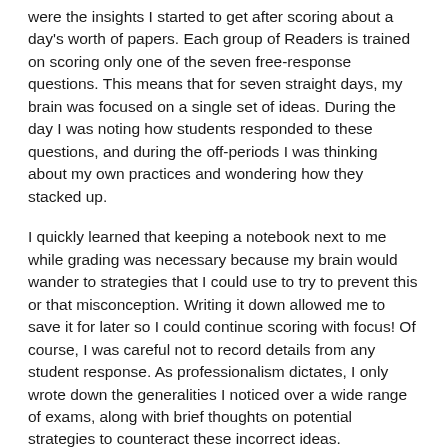were the insights I started to get after scoring about a day's worth of papers. Each group of Readers is trained on scoring only one of the seven free-response questions. This means that for seven straight days, my brain was focused on a single set of ideas. During the day I was noting how students responded to these questions, and during the off-periods I was thinking about my own practices and wondering how they stacked up.
I quickly learned that keeping a notebook next to me while grading was necessary because my brain would wander to strategies that I could use to try to prevent this or that misconception. Writing it down allowed me to save it for later so I could continue scoring with focus! Of course, I was careful not to record details from any student response. As professionalism dictates, I only wrote down the generalities I noticed over a wide range of exams, along with brief thoughts on potential strategies to counteract these incorrect ideas.